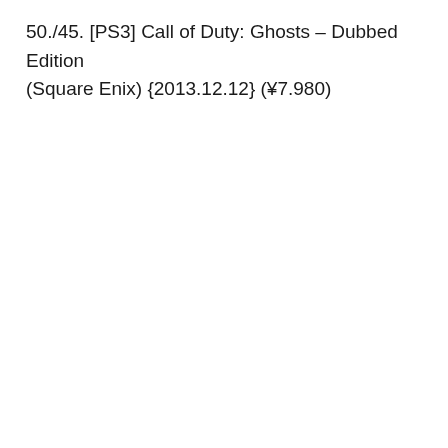50./45. [PS3] Call of Duty: Ghosts – Dubbed Edition (Square Enix) {2013.12.12} (¥7.980)